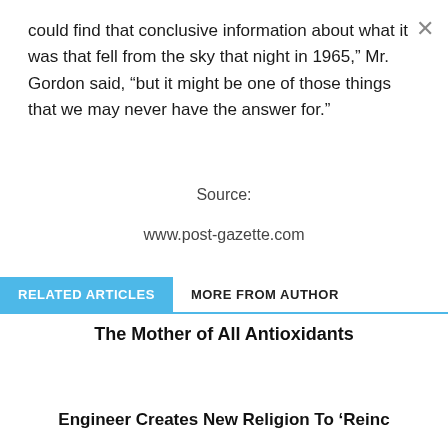could find that conclusive information about what it was that fell from the sky that night in 1965," Mr. Gordon said, "but it might be one of those things that we may never have the answer for."
Source:
www.post-gazette.com
RELATED ARTICLES   MORE FROM AUTHOR
The Mother of All Antioxidants
Engineer Creates New Religion To 'Reinc